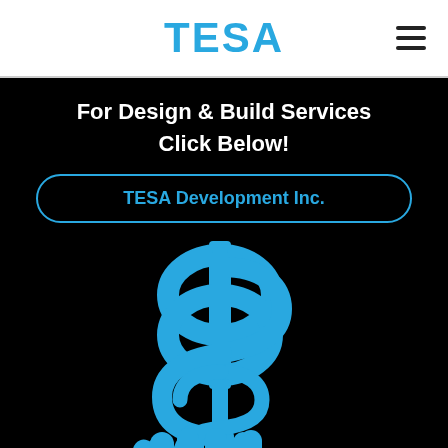TESA
For Design & Build Services
Click Below!
TESA Development Inc.
[Figure (illustration): A blue dollar sign icon above an open hand / payment illustration on a black background]